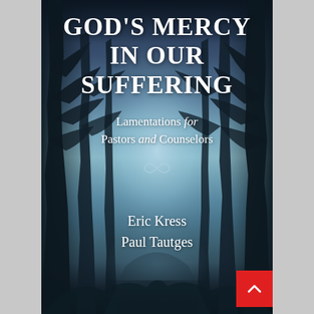[Figure (illustration): Book cover for 'God's Mercy in Our Suffering: Lamentations for Pastors and Counselors' by Eric Kress and Paul Tautges. The background is a dark, atmospheric forest scene with tall bare trees flanking a misty path that leads to a foggy, bluish-grey glow in the center. The ground is covered with fallen leaves. White serif text displays the title prominently at the top, followed by subtitle and author names. A small red scroll-to-top button appears in the bottom-right corner.]
GOD'S MERCY IN OUR SUFFERING
Lamentations for Pastors and Counselors
Eric Kress
Paul Tautges